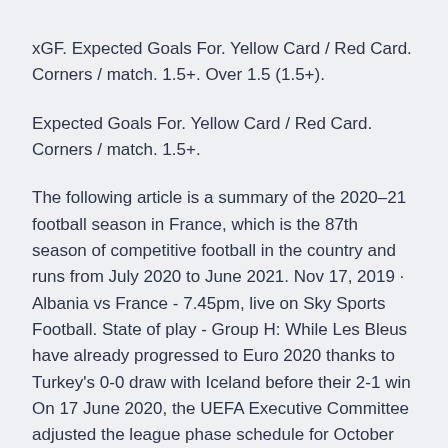xGF. Expected Goals For. Yellow Card / Red Card. Corners / match. 1.5+. Over 1.5 (1.5+).
Expected Goals For. Yellow Card / Red Card. Corners / match. 1.5+.
The following article is a summary of the 2020–21 football season in France, which is the 87th season of competitive football in the country and runs from July 2020 to June 2021. Nov 17, 2019 · Albania vs France - 7.45pm, live on Sky Sports Football. State of play - Group H: While Les Bleus have already progressed to Euro 2020 thanks to Turkey's 0-0 draw with Iceland before their 2-1 win On 17 June 2020, the UEFA Executive Committee adjusted the league phase schedule for October and November 2020 to allow for